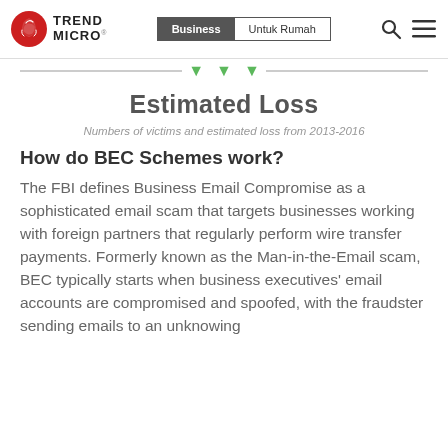[Figure (logo): Trend Micro logo with red spider/shield icon and bold TREND MICRO text]
Business | Untuk Rumah
Estimated Loss
Numbers of victims and estimated loss from 2013-2016
How do BEC Schemes work?
The FBI defines Business Email Compromise as a sophisticated email scam that targets businesses working with foreign partners that regularly perform wire transfer payments. Formerly known as the Man-in-the-Email scam, BEC typically starts when business executives' email accounts are compromised and spoofed, with the fraudster sending emails to an unknowing